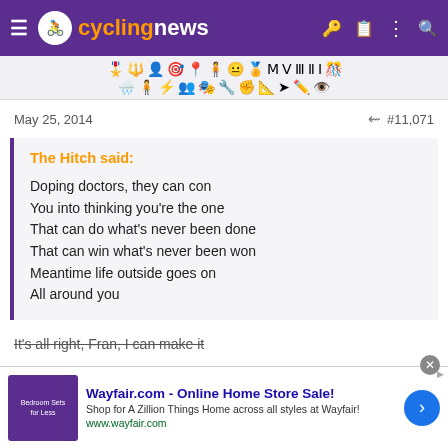cyclingnews
[Figure (screenshot): Icon toolbar with various emoji/symbol icons in two rows on a light gray background]
May 25, 2014   #11,071
The Hitch said:
Doping doctors, they can con
You into thinking you're the one
That can do what's never been done
That can win what's never been won
Meantime life outside goes on
All around you
It's all right, Fran, I can make it
[Figure (screenshot): Wayfair.com advertisement banner: 'Wayfair.com - Online Home Store Sale! Shop for A Zillion Things Home across all styles at Wayfair! www.wayfair.com']